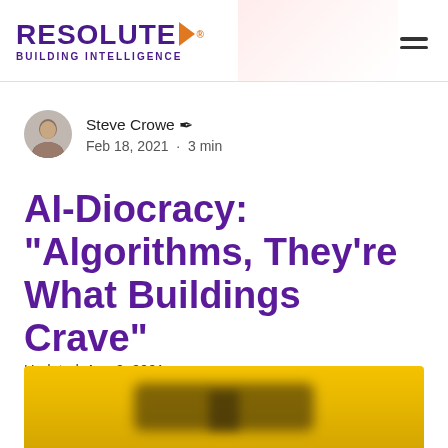RESOLUTE Building Intelligence
Steve Crowe  Feb 18, 2021 · 3 min
AI-Diocracy: "Algorithms, They're What Buildings Crave"
Updated: Aug 9, 2021
[Figure (photo): Blurred photo with yellow/golden background, partially visible at bottom of page]